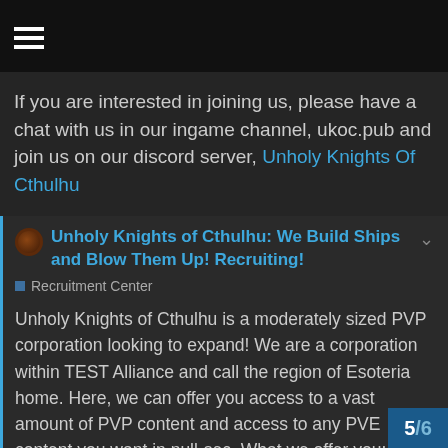[hamburger menu icon]
If you are interested in joining us, please have a chat with us in our ingame channel, ukoc.pub and join us on our discord server, Unholy Knights Of Cthulhu
Unholy Knights of Cthulhu: We Build Ships and Blow Them Up! Recruiting!
Recruitment Center

Unholy Knights of Cthulhu is a moderately sized PVP corporation looking to expand! We are a corporation within TEST Alliance and call the region of Esoteria home. Here, we can offer you access to a vast amount of PVP content and access to any PVE content you want in null-sec. What we offer you: Safe... of PvE EUTZ and USTZ coverage (corp
5/6